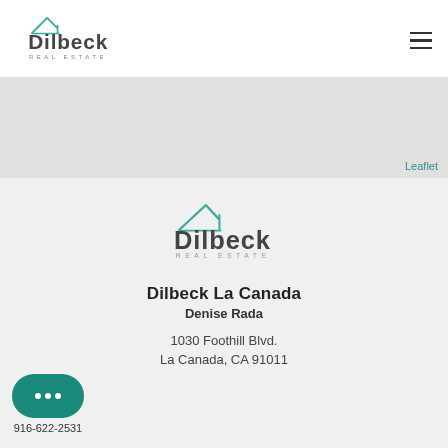[Figure (logo): Dilbeck Real Estate logo in header (top-left), teal roof icon above stylized 'Dilbeck' text with 'REAL ESTATE' subtitle]
[Figure (other): Hamburger menu icon (three horizontal lines) in top-right of header]
[Figure (map): Gray map placeholder area with 'Leaflet' link in bottom-right corner]
[Figure (logo): Large Dilbeck Real Estate logo centered in the lower gray section]
Dilbeck La Canada
Denise Rada
1030 Foothill Blvd.
La Canada, CA 91011
[Figure (other): Teal rounded chat bubble button with three dots]
916-622-2531